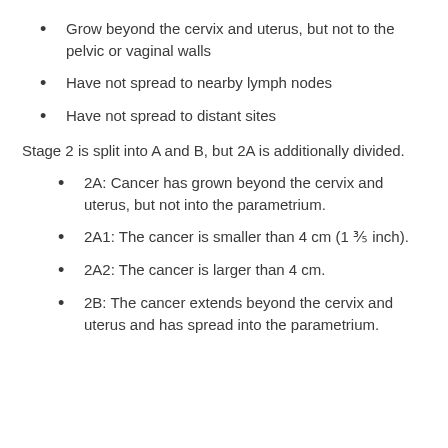Grow beyond the cervix and uterus, but not to the pelvic or vaginal walls
Have not spread to nearby lymph nodes
Have not spread to distant sites
Stage 2 is split into A and B, but 2A is additionally divided.
2A: Cancer has grown beyond the cervix and uterus, but not into the parametrium.
2A1: The cancer is smaller than 4 cm (1 ⅗ inch).
2A2: The cancer is larger than 4 cm.
2B: The cancer extends beyond the cervix and uterus and has spread into the parametrium.